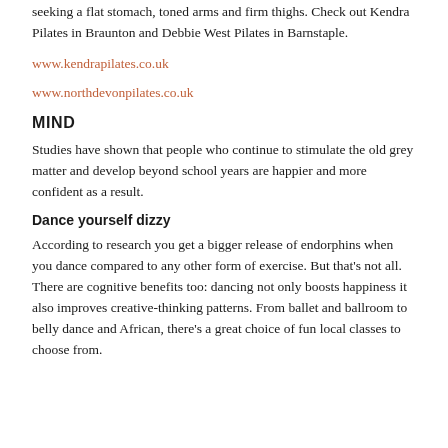seeking a flat stomach, toned arms and firm thighs. Check out Kendra Pilates in Braunton and Debbie West Pilates in Barnstaple.
www.kendrapilates.co.uk
www.northdevonpilates.co.uk
MIND
Studies have shown that people who continue to stimulate the old grey matter and develop beyond school years are happier and more confident as a result.
Dance yourself dizzy
According to research you get a bigger release of endorphins when you dance compared to any other form of exercise. But that's not all. There are cognitive benefits too: dancing not only boosts happiness it also improves creative-thinking patterns. From ballet and ballroom to belly dance and African, there's a great choice of fun local classes to choose from.